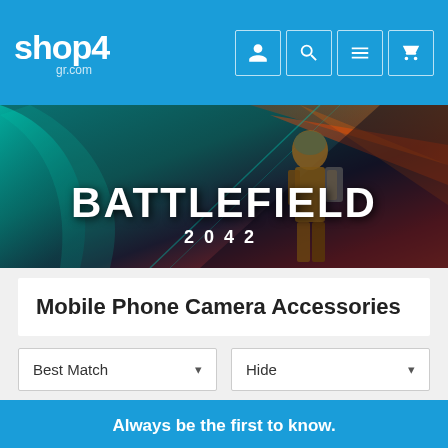[Figure (logo): shop4gr.com logo in white text on blue background]
[Figure (screenshot): Battlefield 2042 promotional banner image with soldier and dramatic lighting]
Mobile Phone Camera Accessories
Best Match
Hide
No results found.
Always be the first to know.